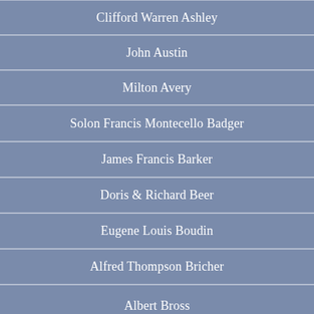Clifford Warren Ashley
John Austin
Milton Avery
Solon Francis Montecello Badger
James Francis Barker
Doris & Richard Beer
Eugene Louis Boudin
Alfred Thompson Bricher
Albert Bross